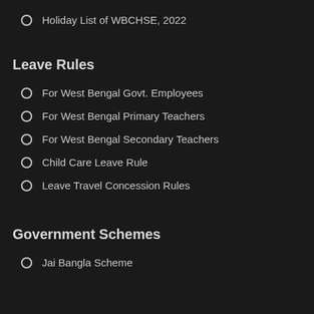Holiday List of WBCHSE, 2022
Leave Rules
For West Bengal Govt. Employees
For West Bengal Primary Teachers
For West Bengal Secondary Teachers
Child Care Leave Rule
Leave Travel Concession Rules
Government Schemes
Jai Bangla Scheme